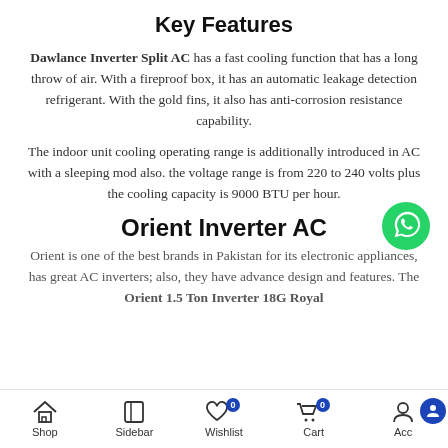Key Features
Dawlance Inverter Split AC has a fast cooling function that has a long throw of air. With a fireproof box, it has an automatic leakage detection refrigerant. With the gold fins, it also has anti-corrosion resistance capability.
The indoor unit cooling operating range is additionally introduced in AC with a sleeping mod also. the voltage range is from 220 to 240 volts plus the cooling capacity is 9000 BTU per hour.
Orient Inverter AC
[Figure (logo): WhatsApp green logo icon]
Orient is one of the best brands in Pakistan for its electronic appliances, has great AC inverters; also, they have advance design and features. The Orient 1.5 Ton Inverter 18G Royal
Shop | Sidebar | Wishlist 0 | Cart 0 | Account